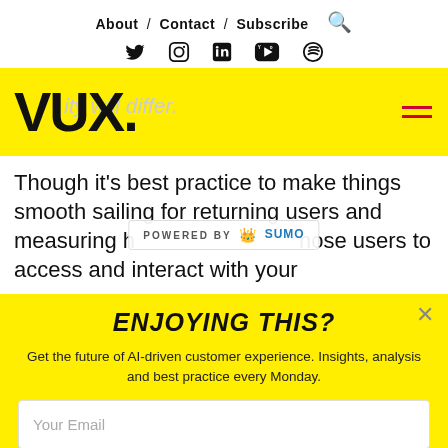About / Contact / Subscribe [search icon]
[Figure (logo): Social media icons: Twitter, Instagram, LinkedIn, YouTube, Spotify]
[Figure (logo): VUX. logo on yellow background with hamburger menu icon]
Though it's best practice to make things smooth sailing for returning users and measuring how easy it is for those users to access and interact with your
POWERED BY SUMO
ENJOYING THIS?
Get the future of AI-driven customer experience. Insights, analysis and best practice every Monday.
Your Email
Subscribe